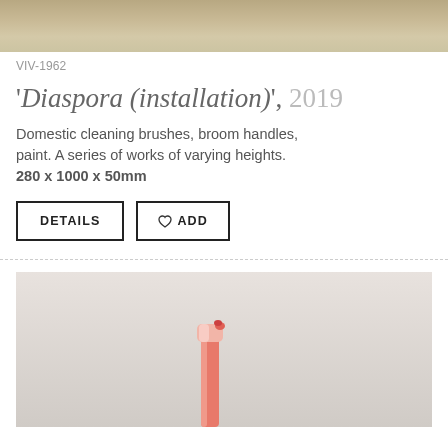[Figure (photo): Top portion of an artwork photo showing a beige/stone-textured surface, partially cropped at top.]
VIV-1962
'Diaspora (installation)', 2019
Domestic cleaning brushes, broom handles, paint. A series of works of varying heights. 280 x 1000 x 50mm
[Figure (photo): Photo of a pink/red cleaning brush or broom handle against a light grey background, partially cropped at bottom of page.]